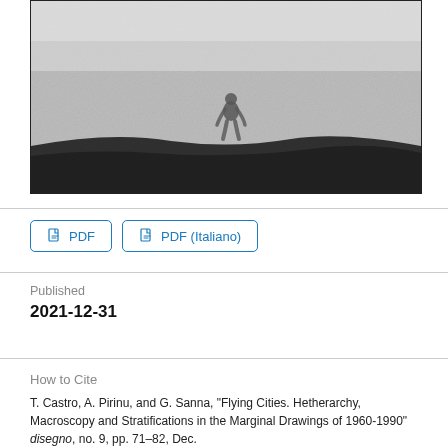[Figure (photo): Grainy black and white photograph of a lone human figure standing on a dark landscape/hill against a pale sky, rendered in halftone/grainy style suggesting a distant or isolated subject.]
PDF
PDF (Italiano)
Published
2021-12-31
How to Cite
T. Castro, A. Pirinu, and G. Sanna, "Flying Cities. Hetherarchy, Macroscopy and Stratifications in the Marginal Drawings of 1960-1990" disegno, no. 9, pp. 71–82, Dec.